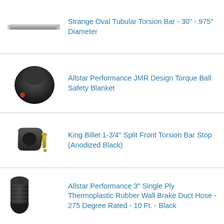[Figure (photo): Strange Oval Tubular Torsion Bar - silver cylindrical tube]
Strange Oval Tubular Torsion Bar - 30" -.975" Diameter
[Figure (photo): Allstar Performance JMR Design Torque Ball Safety Blanket - black fabric cover]
Allstar Performance JMR Design Torque Ball Safety Blanket
[Figure (photo): King Billet 1-3/4" Split Front Torsion Bar Stop - anodized black metal clamp with gold bolt]
King Billet 1-3/4" Split Front Torsion Bar Stop (Anodized Black)
[Figure (photo): Allstar Performance brake duct hose - black thermoplastic rubber cylindrical hose]
Allstar Performance 3" Single Ply Thermoplastic Rubber Wall Brake Duct Hose - 275 Degree Rated - 10 Ft. - Black